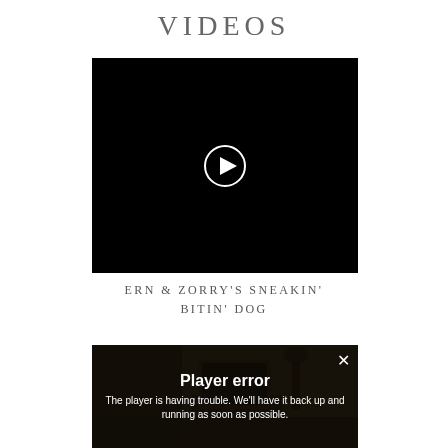VIDEOS
[Figure (screenshot): Black video player frame with a white circle play button in the center]
ERN & ZORRY'S SNEAKIN' BITIN' DOG
[Figure (screenshot): Second video player showing a dark room with an old television set, overlaid with a 'Player error' message: 'The player is having trouble. We'll have it back up and running as soon as possible.' with a close X button in the top right]